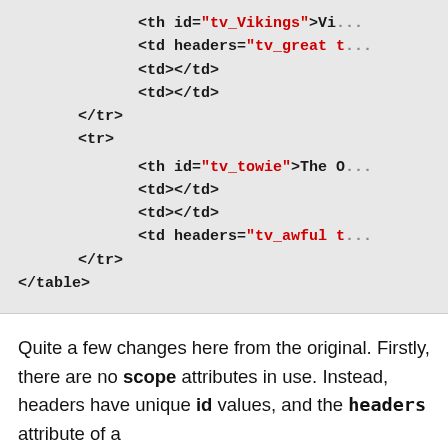[Figure (screenshot): Code block showing HTML markup with th and td elements. Contains: <th id="tv_Vikings">Vi... (truncated), <td headers="tv_great t... (truncated), <td></td>, <td></td>, </tr>, <tr>, <th id="tv_towie">The O... (truncated), <td></td>, <td></td>, <td headers="tv_awful t... (truncated), </tr>, </table>]
Quite a few changes here from the original. Firstly, there are no scope attributes in use. Instead, headers have unique id values, and the headers attribute of a